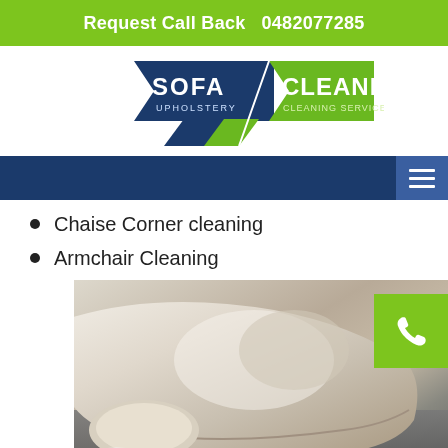Request Call Back  0482077285
[Figure (logo): Sofa Cleaning Upholstery / Cleaning Services logo with dark blue banner shapes]
[Figure (other): Dark blue navigation bar with hamburger menu icon on right]
Chaise Corner cleaning
Armchair Cleaning
[Figure (photo): Photo of a light beige/cream sofa cushion on a dark grey shag carpet, with caption 'Upholstery Cleaning Wyong Creek']
Upholstery Cleaning Wyong Creek
These are some of the exclusive services that we provide to our clients. There is an extensive range of other services as well that we provide under the umbrella of